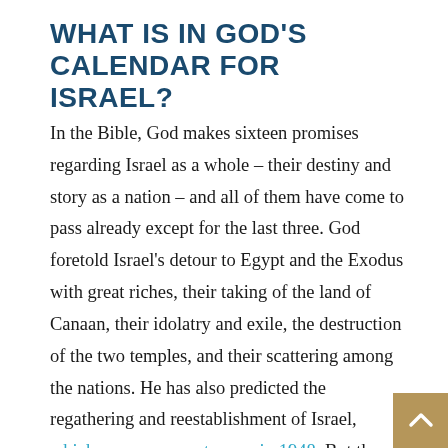WHAT IS IN GOD'S CALENDAR FOR ISRAEL?
In the Bible, God makes sixteen promises regarding Israel as a whole – their destiny and story as a nation – and all of them have come to pass already except for the last three. God foretold Israel's detour to Egypt and the Exodus with great riches, their taking of the land of Canaan, their idolatry and exile, the destruction of the two temples, and their scattering among the nations. He has also predicted the regathering and reestablishment of Israel, which we saw come to pass in 1948. But there is more to come.